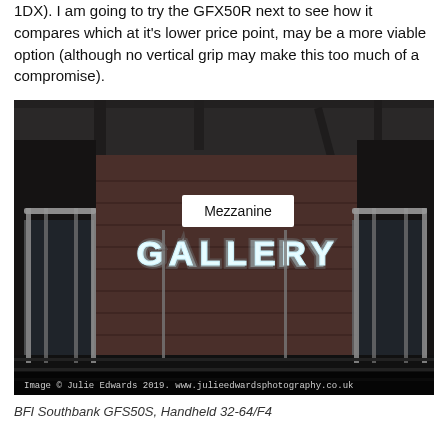1DX). I am going to try the GFX50R next to see how it compares which at it's lower price point, may be a more viable option (although no vertical grip may make this too much of a compromise).
[Figure (photo): Night photograph of the BFI Southbank Mezzanine Gallery entrance, showing illuminated 'Mezzanine' sign in a white box and large neon 'GALLERY' letters in blue-white light on a dark wood-panelled wall, with glass and metal railings on stairs in the foreground. Watermark: 'Image © Julie Edwards 2019. www.julieedwardsphotography.co.uk']
BFI Southbank GFS50S, Handheld 32-64/F4